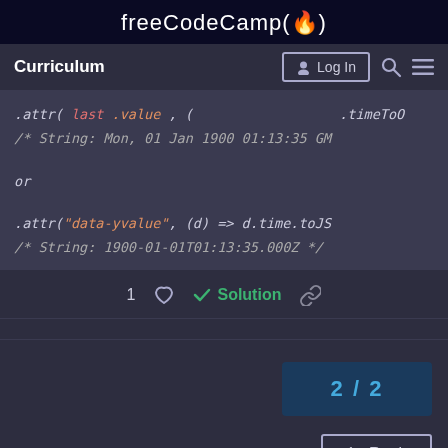freeCodeCamp(🔥)
Curriculum  Log In
.attr( last ).value , (  .timeToO
/* String: Mon, 01 Jan 1900 01:13:35 GM

or

.attr("data-yvalue", (d) => d.time.toJS
/* String: 1900-01-01T01:13:35.000Z */
1 ♡  ✓ Solution  🔗
2 / 2
↩ Reply